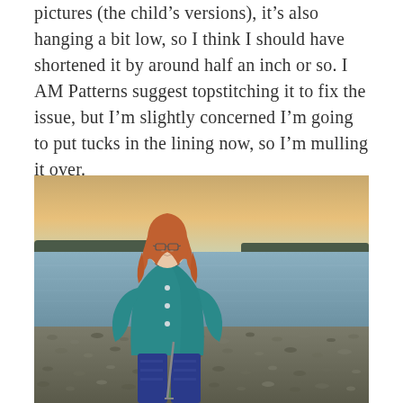pictures (the child's versions), it's also hanging a bit low, so I think I should have shortened it by around half an inch or so. I AM Patterns suggest topstitching it to fix the issue, but I'm slightly concerned I'm going to put tucks in the lining now, so I'm mulling it over.
[Figure (photo): A woman with long red hair wearing glasses and a teal/blue swing coat with buttons over blue patterned wide-leg pants, standing on a pebbly beach shoreline with a calm body of water and distant hills behind her under a sunset sky.]